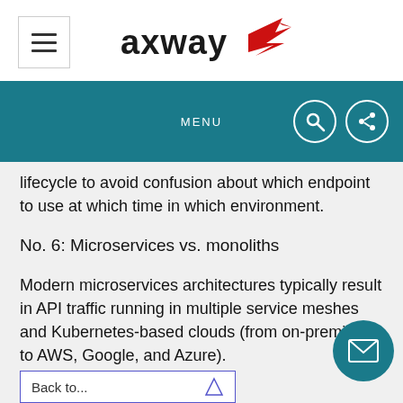[Figure (logo): Axway logo with red bird/arrow graphic and bold text 'axway']
MENU
lifecycle to avoid confusion about which endpoint to use at which time in which environment.
No. 6: Microservices vs. monoliths
Modern microservices architectures typically result in API traffic running in multiple service meshes and Kubernetes-based clouds (from on-premises to AWS, Google, and Azure).